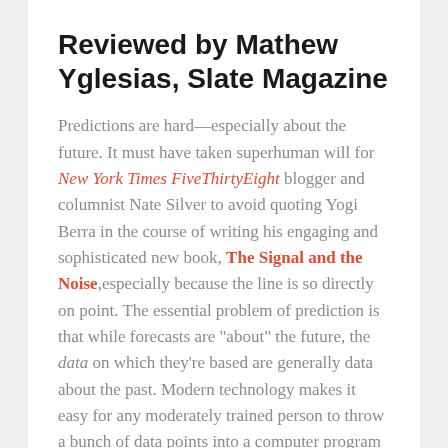Reviewed by Mathew Yglesias, Slate Magazine
Predictions are hard—especially about the future. It must have taken superhuman will for New York Times FiveThirtyEight blogger and columnist Nate Silver to avoid quoting Yogi Berra in the course of writing his engaging and sophisticated new book, The Signal and the Noise,especially because the line is so directly on point. The essential problem of prediction is that while forecasts are "about" the future, the data on which they're based are generally data about the past. Modern technology makes it easy for any moderately trained person to throw a bunch of data points into a computer program and spit out a model that